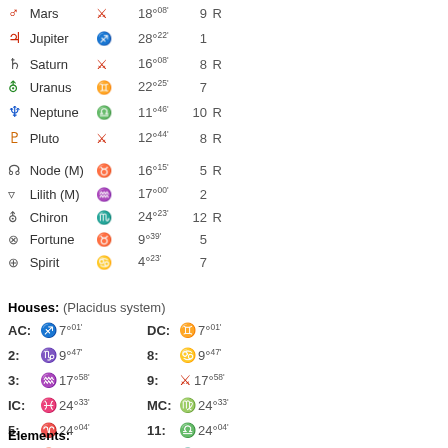| Symbol | Planet | Sign | Degree | House | R |
| --- | --- | --- | --- | --- | --- |
| ♂ | Mars | ♌ | 18°08' | 9 | R |
| ♃ | Jupiter | ♐ | 28°22' | 1 |  |
| ♄ | Saturn | ♌ | 16°08' | 8 | R |
| ⛢ | Uranus | ♊ | 22°25' | 7 |  |
| ♆ | Neptune | ♎ | 11°46' | 10 | R |
| ♇ | Pluto | ♌ | 12°44' | 8 | R |
|  | Node (M) | ♉ | 16°15' | 5 | R |
|  | Lilith (M) | ♒ | 17°00' | 2 |  |
|  | Chiron | ♏ | 24°23' | 12 | R |
|  | Fortune | ♉ | 9°39' | 5 |  |
|  | Spirit | ♋ | 4°23' | 7 |  |
Houses: (Placidus system)
| House | Sign | Degree | House | Sign | Degree |
| --- | --- | --- | --- | --- | --- |
| AC: | ♐ | 7°01' | DC: | ♊ | 7°01' |
| 2: | ♑ | 9°47' | 8: | ♋ | 9°47' |
| 3: | ♒ | 17°58' | 9: | ♌ | 17°58' |
| IC: | ♓ | 24°33' | MC: | ♍ | 24°33' |
| 5: | ♈ | 24°04' | 11: | ♎ | 24°04' |
| 6: | ♉ | 17°18' | 12: | ♏ | 17°18' |
Elements:
8x Fire  4x Earth